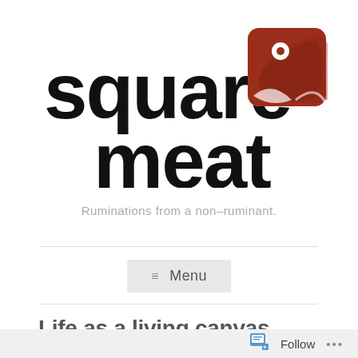[Figure (logo): Square Meat logo: bold black blocky text reading 'square meat' on left, with a dark red rounded square icon on the right featuring a stylized bird/fish silhouette in white]
Ruminations from a non-ruminant.
≡ Menu
Life as a living canvas.
Follow ...